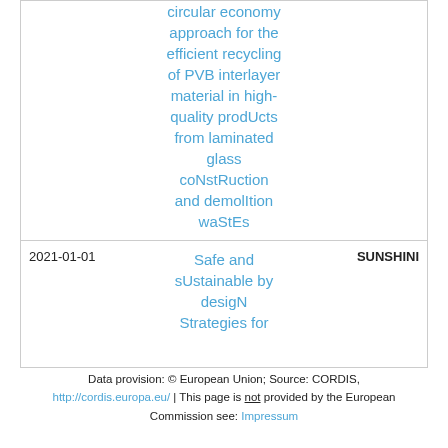| Date | Title | Acronym |
| --- | --- | --- |
|  | circular economy approach for the efficient recycling of PVB interlayer material in high-quality prodUcts from laminated glass coNstRuction and demolItion waStEs |  |
| 2021-01-01 | Safe and sUstainable by desigN Strategies for... | SUNSHINI |
Data provision: © European Union; Source: CORDIS, http://cordis.europa.eu/ | This page is not provided by the European Commission see: Impressum